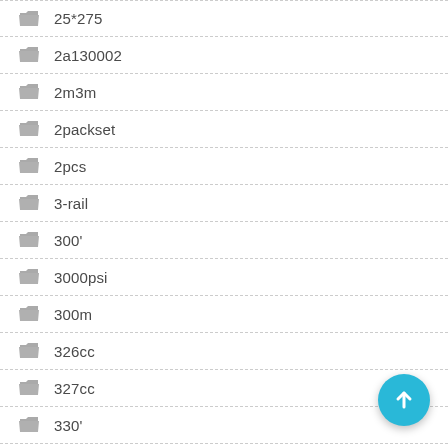25*275
2a130002
2m3m
2packset
2pcs
3-rail
300'
3000psi
300m
326cc
327cc
330'
3300lbs